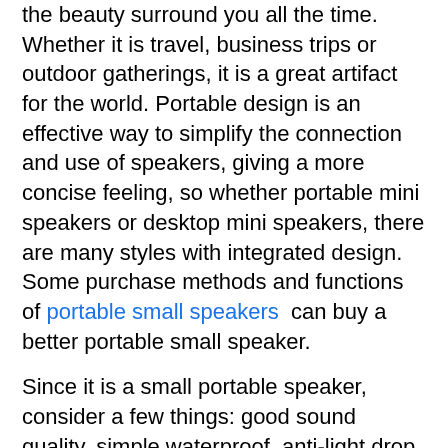the beauty surround you all the time. Whether it is travel, business trips or outdoor gatherings, it is a great artifact for the world. Portable design is an effective way to simplify the connection and use of speakers, giving a more concise feeling, so whether portable mini speakers or desktop mini speakers, there are many styles with integrated design. Some purchase methods and functions of portable small speakers  can buy a better portable small speaker.
Since it is a small portable speaker, consider a few things: good sound quality, simple waterproof, anti-light drop and scratch-resistant, long standby time. And when you go out, the natural face value is also considered.
The most powerful function of the portable small speaker is its perfect sound quality performance, which is unmatched by other digital products.
Moreover, it can also play audio files in different